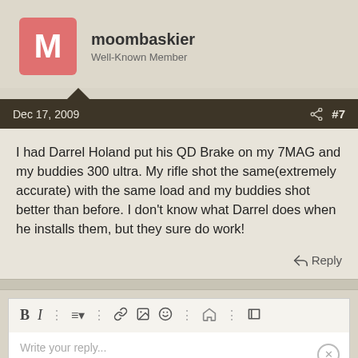moombaskier
Well-Known Member
Dec 17, 2009  #7
I had Darrel Holand put his QD Brake on my 7MAG and my buddies 300 ultra. My rifle shot the same(extremely accurate) with the same load and my buddies shot better than before. I don't know what Darrel does when he installs them, but they sure do work!
Reply